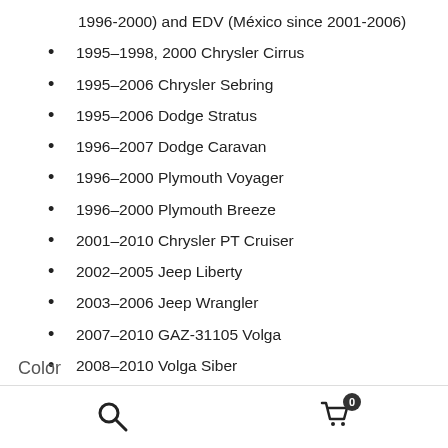1996-2000) and EDV (México since 2001-2006)
1995–1998, 2000 Chrysler Cirrus
1995–2006 Chrysler Sebring
1995–2006 Dodge Stratus
1996–2007 Dodge Caravan
1996–2000 Plymouth Voyager
1996–2000 Plymouth Breeze
2001–2010 Chrysler PT Cruiser
2002–2005 Jeep Liberty
2003–2006 Jeep Wrangler
2007–2010 GAZ-31105 Volga
2008–2010 Volga Siber
Color
Search | Cart (0)